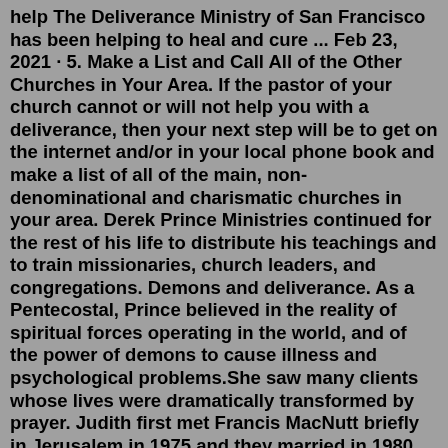help The Deliverance Ministry of San Francisco has been helping to heal and cure ... Feb 23, 2021 · 5. Make a List and Call All of the Other Churches in Your Area. If the pastor of your church cannot or will not help you with a deliverance, then your next step will be to get on the internet and/or in your local phone book and make a list of all of the main, non-denominational and charismatic churches in your area. Derek Prince Ministries continued for the rest of his life to distribute his teachings and to train missionaries, church leaders, and congregations. Demons and deliverance. As a Pentecostal, Prince believed in the reality of spiritual forces operating in the world, and of the power of demons to cause illness and psychological problems.She saw many clients whose lives were dramatically transformed by prayer. Judith first met Francis MacNutt briefly in Jerusalem in 1975 and they married in 1980. That same year they co-founded Christian Healing Ministries, Inc. (CHM) in Clearwater, Florida. In 1987, at the invitation of the Episcopal Diocese of Florida, the